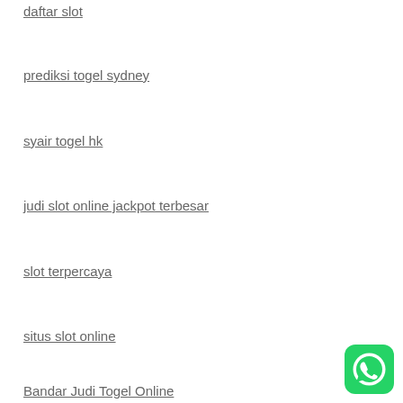daftar slot
prediksi togel sydney
syair togel hk
judi slot online jackpot terbesar
slot terpercaya
situs slot online
Bandar Judi Togel Online
[Figure (logo): WhatsApp logo button in bottom right corner]